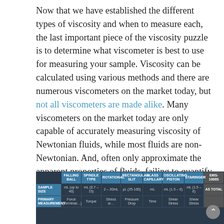Now that we have established the different types of viscosity and when to measure each, the last important piece of the viscosity puzzle is to determine what viscometer is best to use for measuring your sample. Viscosity can be calculated using various methods and there are numerous viscometers on the market today, but not all viscometers are made alike. Many viscometers on the market today are only capable of accurately measuring viscosity of Newtonian fluids, while most fluids are non-Newtonian. And, often only approximate the apparent properties of fluids, failing to quantify the absolute or true viscosity, which is one of the most important parameters in the development and modeling of applications that involve fluid flow.
|  | FALLING BALL | SPINDLE TYPE | ROTATIONAL | RECTANGULAR SLIT | GLASS CAPILLARY | OSCILLATING PISTON | STARINGER | EMS-1000S |
| --- | --- | --- | --- | --- | --- | --- | --- | --- |
| SAMPLE SIZE | mL (up to 40) | mL (0.7 – 15) | 2 – 20mL | μL (25-100) | mL | mL (1.5 – 6) | mL (1.5 – 6) | AS TOTAL |
| PRIMARY MEASUREMENT | Force (Terminal…) | Torque | Stress or… | Pressure Drop | Time | Shear Stress | Shear Stress | … |